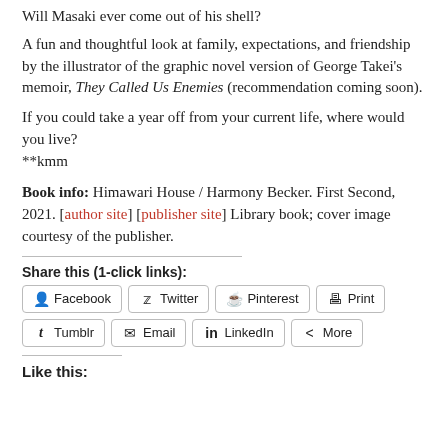Will Masaki ever come out of his shell?
A fun and thoughtful look at family, expectations, and friendship by the illustrator of the graphic novel version of George Takei's memoir, They Called Us Enemies (recommendation coming soon).
If you could take a year off from your current life, where would you live?
**kmm
Book info: Himawari House / Harmony Becker. First Second, 2021. [author site] [publisher site] Library book; cover image courtesy of the publisher.
Share this (1-click links):
Facebook
Twitter
Pinterest
Print
Tumblr
Email
LinkedIn
More
Like this: